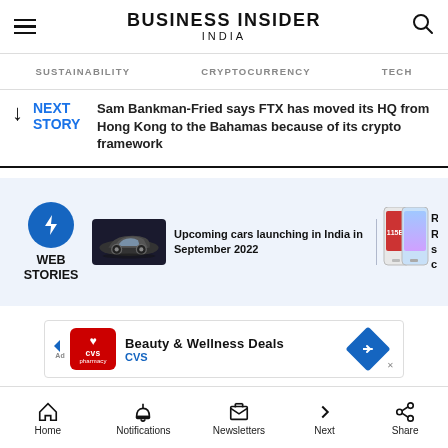BUSINESS INSIDER INDIA
SUSTAINABILITY   CRYPTOCURRENCY   TECH
NEXT STORY  Sam Bankman-Fried says FTX has moved its HQ from Hong Kong to the Bahamas because of its crypto framework
[Figure (infographic): WEB STORIES section with lightning bolt icon, car image, text 'Upcoming cars launching in India in September 2022', and phone images]
[Figure (infographic): CVS Pharmacy advertisement: Beauty & Wellness Deals]
Home   Notifications   Newsletters   Next   Share